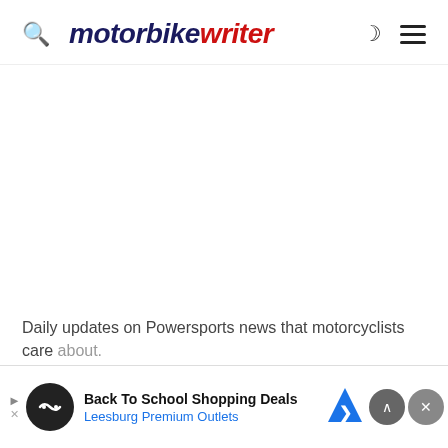motorbike writer
Daily updates on Powersports news that motorcyclists care about.
[Figure (screenshot): Advertisement banner: Back To School Shopping Deals - Leesburg Premium Outlets]